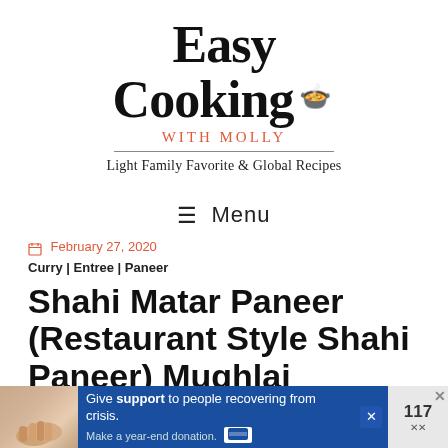Easy Cooking WITH MOLLY
Light Family Favorite & Global Recipes
≡ Menu
February 27, 2020
Curry | Entree | Paneer
Shahi Matar Paneer (Restaurant Style Shahi Paneer) Mughlai
[Figure (other): Advertisement banner at bottom: blue background with image of hands holding and text 'Give support to people recovering from crisis. Make a year-end donation.']